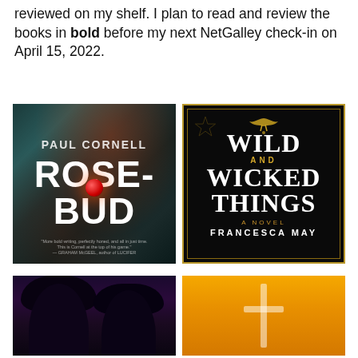reviewed on my shelf. I plan to read and review the books in bold before my next NetGalley check-in on April 15, 2022.
[Figure (photo): Book cover of 'Rosebud' by Paul Cornell. Dark teal/green geometric background with a red glowing orb in the center. Title 'ROSE-BUD' in large white bold text, author name 'PAUL CORNELL' at top.]
[Figure (photo): Book cover of 'Wild and Wicked Things' by Francesca May. Black background with ornate gold decorative border and occult symbols. Title 'WILD AND WICKED THINGS' in large white serif text, subtitle 'A NOVEL', author 'FRANCESCA MAY' at bottom. Gold bird and pentagram decorations.]
[Figure (photo): Partial book cover showing dark silhouettes of two figures with large hair against a dark purple/black background.]
[Figure (photo): Partial book cover with bright orange/yellow background showing a cross or sword shape at the bottom.]